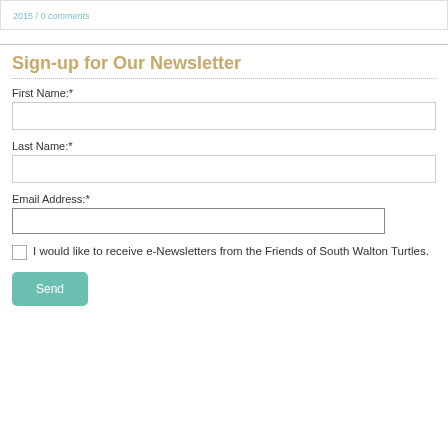2015 / 0 comments
Sign-up for Our Newsletter
First Name:*
Last Name:*
Email Address:*
I would like to receive e-Newsletters from the Friends of South Walton Turtles.
Send